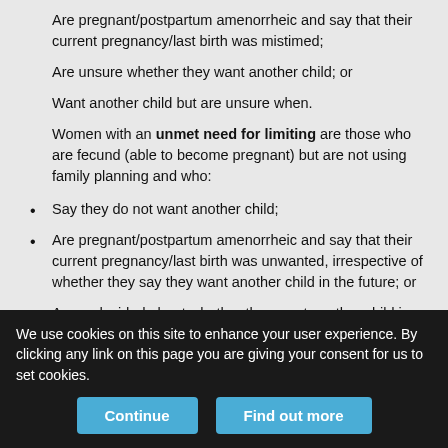Are pregnant/postpartum amenorrheic and say that their current pregnancy/last birth was mistimed;
Are unsure whether they want another child; or
Want another child but are unsure when.
Women with an unmet need for limiting are those who are fecund (able to become pregnant) but are not using family planning and who:
Say they do not want another child;
Are pregnant/postpartum amenorrheic and say that their current pregnancy/last birth was unwanted, irrespective of whether they say they want another child in the future; or
Are undecided about whether they want another child in the
We use cookies on this site to enhance your user experience. By clicking any link on this page you are giving your consent for us to set cookies.